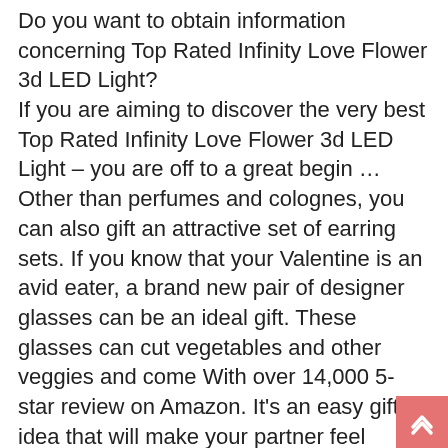Do you want to obtain information concerning Top Rated Infinity Love Flower 3d LED Light? If you are aiming to discover the very best Top Rated Infinity Love Flower 3d LED Light – you are off to a great begin … Other than perfumes and colognes, you can also gift an attractive set of earring sets. If you know that your Valentine is an avid eater, a brand new pair of designer glasses can be an ideal gift. These glasses can cut vegetables and other veggies and come With over 14,000 5-star review on Amazon. It's an easy gift idea that will make your partner feel loved. If you're searching for more Valentines Day ideas, look at these suggestions! A thoughtful gift for your loved one is a gift that will last for the rest of their lives. If you're a wine enthusiast or a set of chopping tools for delicious food items will delight. If you're not exactly the type of person who shares cooking space, you are able to…